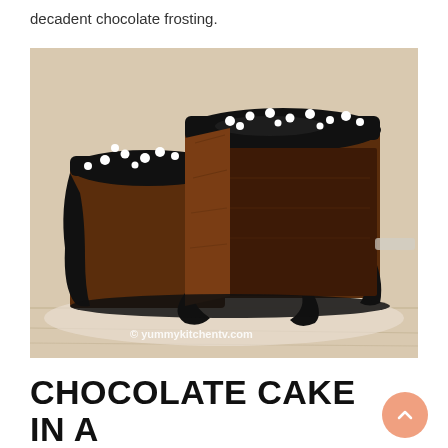decadent chocolate frosting.
[Figure (photo): A chocolate cake with glossy dark chocolate frosting and white pearl sprinkles, with a slice cut out revealing the moist chocolate interior, on a light wooden surface. Watermark: © yummykitchentv.com]
CHOCOLATE CAKE IN A MICROWAVE